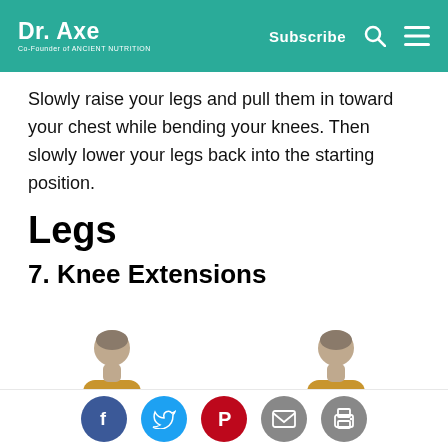Dr. Axe | Co-Founder of Ancient Nutrition — Subscribe
Slowly raise your legs and pull them in toward your chest while bending your knees. Then slowly lower your legs back into the starting position.
Legs
7. Knee Extensions
[Figure (illustration): Two illustrated figures of a person wearing a yellow shirt — one seated upright (starting position) and one with leg extended (extension position) — demonstrating knee extension exercise.]
Social sharing buttons: Facebook, Twitter, Pinterest, Email, Print